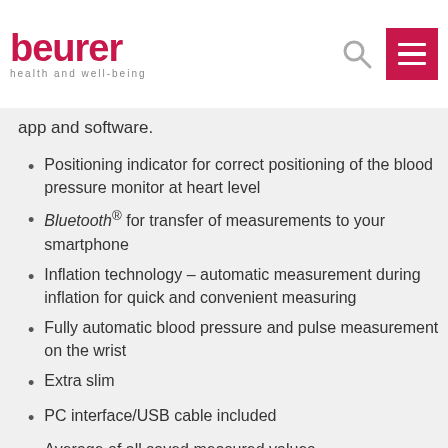beurer health and well-being
app and software.
Positioning indicator for correct positioning of the blood pressure monitor at heart level
Bluetooth® for transfer of measurements to your smartphone
Inflation technology – automatic measurement during inflation for quick and convenient measuring
Fully automatic blood pressure and pulse measurement on the wrist
Extra slim
PC interface/USB cable included
Average of all saved measured values
Average of morning and evening blood pressure for the last 7 days